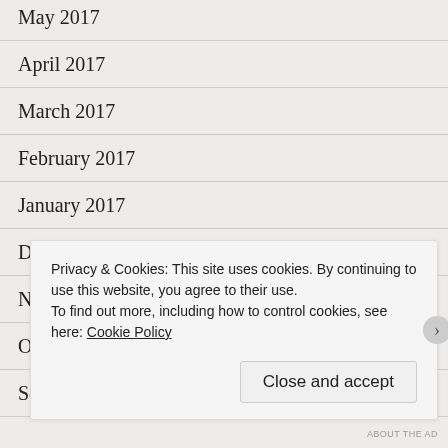May 2017
April 2017
March 2017
February 2017
January 2017
December 2016
November 2016
October 2016
September 2016
A…
Privacy & Cookies: This site uses cookies. By continuing to use this website, you agree to their use.
To find out more, including how to control cookies, see here: Cookie Policy
Close and accept
ABOUT THE AD